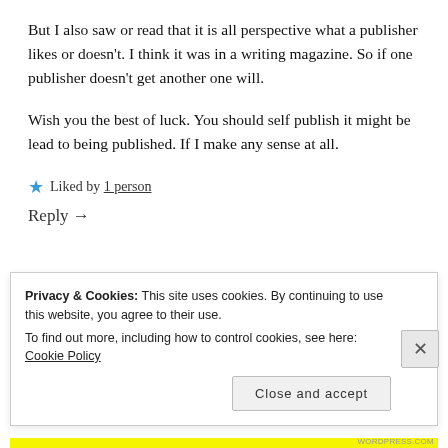But I also saw or read that it is all perspective what a publisher likes or doesn't. I think it was in a writing magazine. So if one publisher doesn't get another one will.

Wish you the best of luck. You should self publish it might be lead to being published. If I make any sense at all.
★ Liked by 1 person
Reply →
Privacy & Cookies: This site uses cookies. By continuing to use this website, you agree to their use.
To find out more, including how to control cookies, see here: Cookie Policy